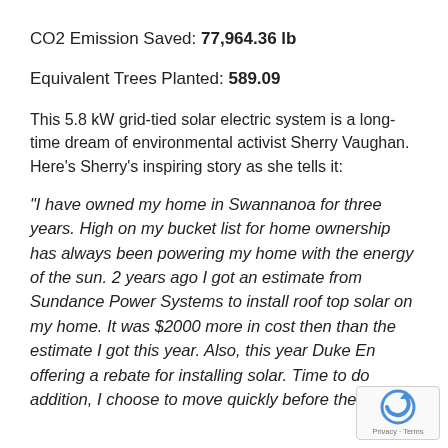CO2 Emission Saved: 77,964.36 lb
Equivalent Trees Planted: 589.09
This 5.8 kW grid-tied solar electric system is a long-time dream of environmental activist Sherry Vaughan. Here's Sherry's inspiring story as she tells it:
“I have owned my home in Swannanoa for three years. High on my bucket list for home ownership has always been powering my home with the energy of the sun. 2 years ago I got an estimate from Sundance Power Systems to install roof top solar on my home. It was $2000 more in cost then than the estimate I got this year. Also, this year Duke En offering a rebate for installing solar. Time to do addition, I choose to move quickly before the impact
[Figure (logo): reCAPTCHA badge with circular arrow logo and Privacy · Terms text]